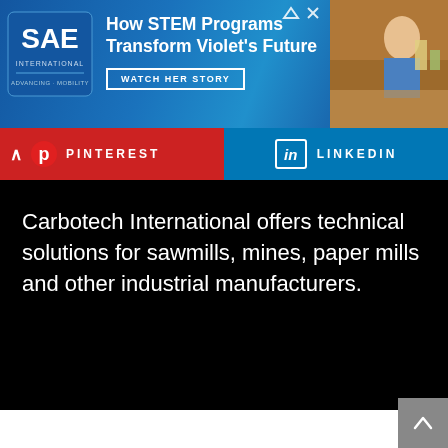[Figure (screenshot): SAE International website banner ad: 'How STEM Programs Transform Violet's Future' with WATCH HER STORY button, blue background, photo of student on right, SAE logo on left. Ad close and expand icons top right.]
[Figure (screenshot): Social media share buttons bar: Pinterest (red background, chevron up, Pinterest P logo) on left, LinkedIn (blue background, LinkedIn 'in' logo) on right.]
Carbotech International offers technical solutions for sawmills, mines, paper mills and other industrial manufacturers.